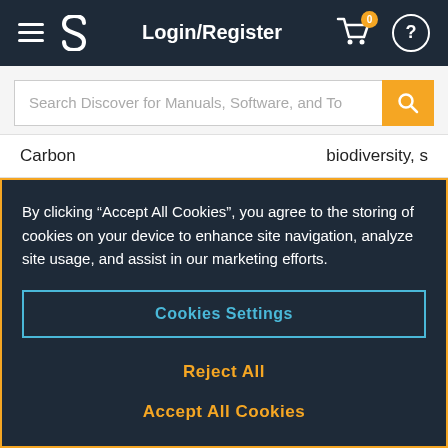[Figure (screenshot): Navigation bar with hamburger menu, S logo, Login/Register text, cart icon with badge '0', and help/question mark icon]
[Figure (screenshot): Search bar with placeholder text 'Search Discover for Manuals, Software, and To' and orange search button]
[Figure (screenshot): Tab row showing 'Carbon' on left and 'biodiversity, s' on right]
By clicking “Accept All Cookies”, you agree to the storing of cookies on your device to enhance site navigation, analyze site usage, and assist in our marketing efforts.
Cookies Settings
Reject All
Accept All Cookies